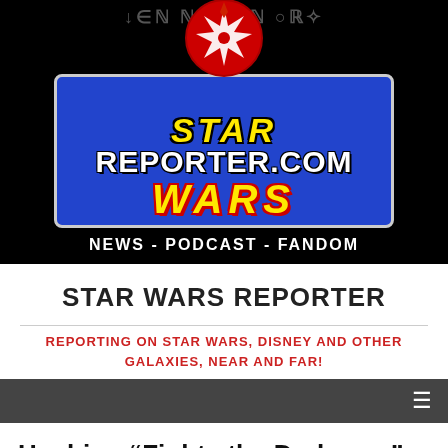[Figure (logo): Star Wars Reporter website header banner with logo showing a red Rebel Alliance symbol, blue rectangle with STAR REPORTER.COM WARS text, black background, and tagline NEWS - PODCAST - FANDOM]
STAR WARS REPORTER
REPORTING ON STAR WARS, DISNEY AND OTHER GALAXIES, NEAR AND FAR!
Navigation bar with hamburger menu
Hoshino “Fights the Darkness” in this Star Wars Fan Film
November 4, 2016   Steve Fitch